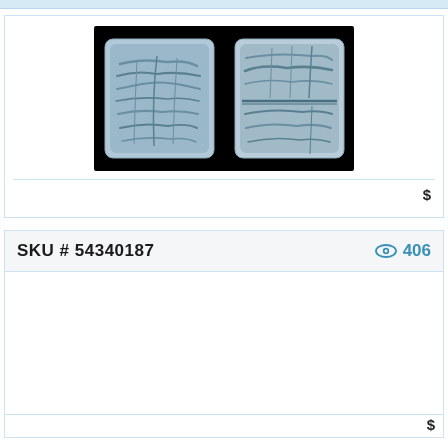[Figure (photo): Photograph of two sides of an ancient silver coin with Arabic/Islamic inscriptions on a black background. Left side shows obverse with raised script text in a square format; right side shows reverse with similar inscriptions in a square format.]
S
SKU # 54340187   406 views
S